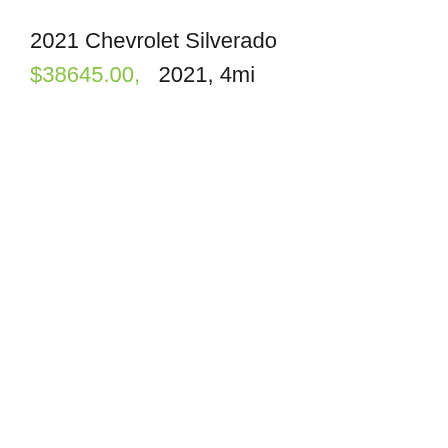2021 Chevrolet Silverado
$38645.00,  2021, 4mi